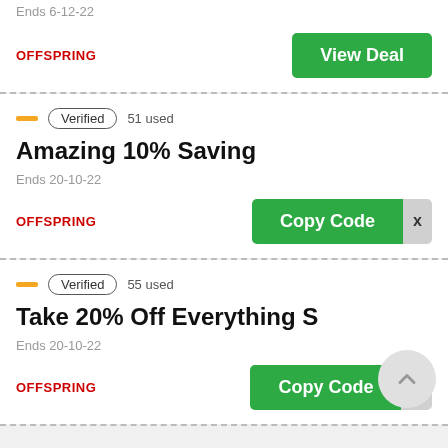Ends 6-12-22
OFFSPRING
View Deal
Verified  51 used
Amazing 10% Saving
Ends 20-10-22
OFFSPRING
Copy Code
Verified  55 used
Take 20% Off Everything S
Ends 20-10-22
OFFSPRING
Copy Code